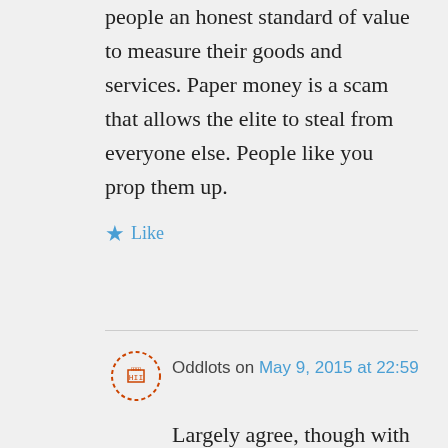people an honest standard of value to measure their goods and services. Paper money is a scam that allows the elite to steal from everyone else. People like you prop them up.
★ Like
Oddlots on May 9, 2015 at 22:59
Largely agree, though with a few caveats. To my mind gold has some utility in international balance of payments, which is largely its most important function in 19th century